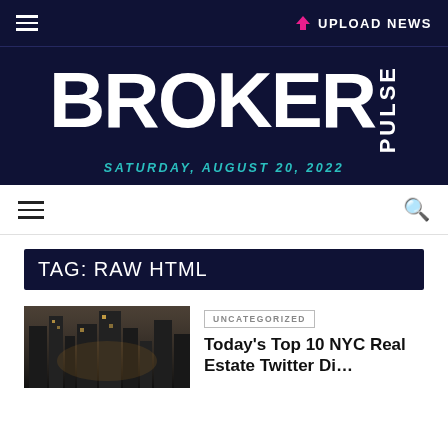UPLOAD NEWS
BROKER PULSE
SATURDAY, AUGUST 20, 2022
TAG: RAW HTML
UNCATEGORIZED
[Figure (photo): Aerial/street view of NYC buildings in dark tone]
Today's Top 10 NYC Real Estate Twitter Di…